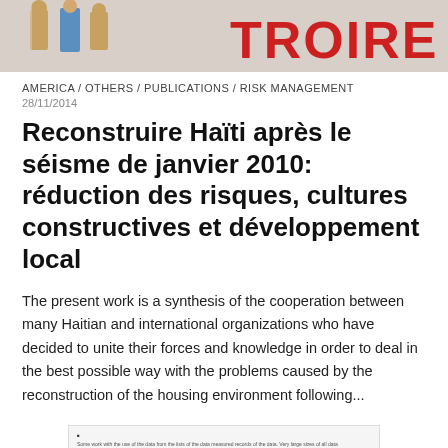[Figure (illustration): Banner image showing illustrated figures of people and red text 'TROIRE' partially visible, in a colorful graphic style]
AMERICA / OTHERS / PUBLICATIONS / RISK MANAGEMENT
28/11/2014
Reconstruire Haïti après le séisme de janvier 2010: réduction des risques, cultures constructives et développement local
The present work is a synthesis of the cooperation between many Haitian and international organizations who have decided to unite their forces and knowledge in order to deal in the best possible way with the problems caused by the reconstruction of the housing environment following...
[Figure (screenshot): Small thumbnail preview of a document page with dense text and a blue highlighted bar element]